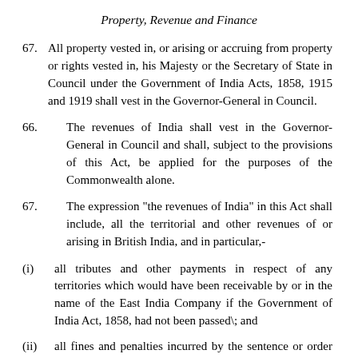Property, Revenue and Finance
67.      All property vested in, or arising or accruing from property or rights vested in, his Majesty or the Secretary of State in Council under the Government of India Acts, 1858, 1915 and 1919 shall vest in the Governor-General in Council.
66.            The revenues of India shall vest in the Governor-General in Council and shall, subject to the provisions of this Act, be applied for the purposes of the Commonwealth alone.
67.               The expression "the revenues of India" in this Act shall include, all the territorial and other revenues of or arising in British India, and in particular,-
(i)         all tributes and other payments in respect of any territories which would have been receivable by or in the name of the East India Company if the Government of India Act, 1858, had not been passed\; and
(ii)        all fines and penalties incurred by the sentence or order of any court of justice in British India, and all